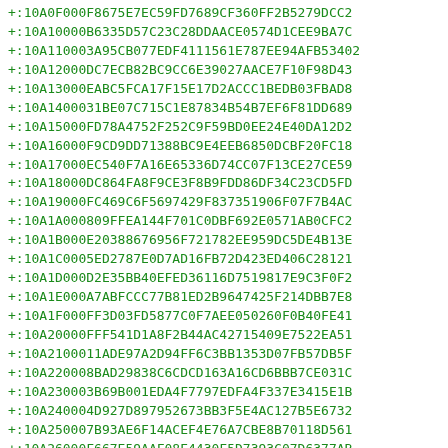+:10A0F000F8675E7EC59FD7689CF360FF2B5279DCC2
+:10A10000B6335D57C23C28DDAACE0574D1CEE9BA7C
+:10A110003A95CB077EDF4111561E787EE94AFB53402
+:10A12000DC7ECB82BC9CC6E39027AACE7F10F98D43
+:10A13000EABC5FCA17F15E17D2ACCC1BEDB03FBAD8
+:10A1400031BE07C715C1E87834B54B7EF6F81DD689
+:10A15000FD78A4752F252C9F59BD0EE24E40DA12D2
+:10A16000F9CD9DD71388BC9E4EEB6850DCBF20FC18
+:10A17000EC540F7A16E65336D74CC07F13CE27CE59
+:10A18000DC864FA8F9CE3F8B9FDD86DF34C23CD5FD
+:10A19000FC469C6F5697429F837351906F07F7B4AC
+:10A1A000809FFEA144F701C0DBF692E0571AB0CFC2
+:10A1B000E20388676956F721782EE959DC5DE4B13E
+:10A1C0005ED2787E0D7AD16FB72D423ED406C28121
+:10A1D000D2E35BB40EFED36116D7519817E9C3F0F2
+:10A1E000A7ABFCCC77B81ED2B9647425F214DBB7E8
+:10A1F000FF3D03FD5877C0F7AEE050260F0B40FE41
+:10A20000FFF541D1A8F2B44AC42715409E7522EA51
+:10A2100011ADE97A2D94FF6C3BB1353D07FB57DB5F
+:10A220008BAD29838C6CDCD163A16CD6BBB7CE031C
+:10A230003B69B001EDA4F7797EDFA4F337E3415E1B
+:10A240004D927D897952673BB3F5E4AC127B5E6732
+:10A250007B93AE6F14ACEF4E76A7CBE8B70118D561
+:10A26000F667E59AAF08E4430F5D7393C07D6377AB
+:10A27000B647890C6CA2E0ACE30894445179C98861D
+:10A2800033E052ED112807FF8599E777CA271A7244
+:10A29000A3F1083B0EDE5779BFC2A07798BDCACBA9
+:10A2A0004EF7B02DF328F3D48A7D45983F210762FD
+:10A2B000A0BC2605D0EF256BD8BD0BE2BE056AC752
+:10A2C000A6764F00BB97F54B8D843C233AB9B21E6D